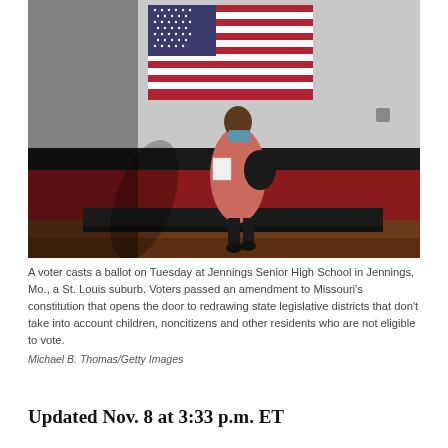[Figure (photo): A voter wearing a pink jacket and blue face mask holds papers and stands in front of a large American flag hanging on a red and black brick wall inside what appears to be a school gymnasium. The person is standing near a bench.]
A voter casts a ballot on Tuesday at Jennings Senior High School in Jennings, Mo., a St. Louis suburb. Voters passed an amendment to Missouri's constitution that opens the door to redrawing state legislative districts that don't take into account children, noncitizens and other residents who are not eligible to vote.
Michael B. Thomas/Getty Images
Updated Nov. 8 at 3:33 p.m. ET